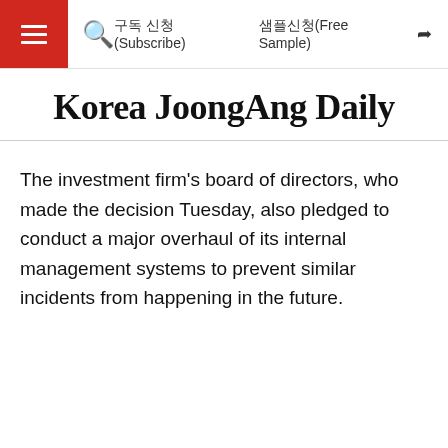구독 신청(Subscribe)   샘플신청(Free Sample)
Korea JoongAng Daily
The investment firm's board of directors, who made the decision Tuesday, also pledged to conduct a major overhaul of its internal management systems to prevent similar incidents from happening in the future.